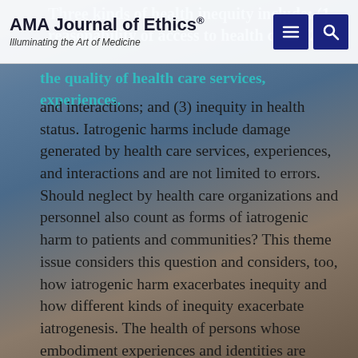AMA Journal of Ethics® — Illuminating the Art of Medicine
Three kinds of health inequity include: (1) reasonability of access to health care, (2) in… the quality of health care services, experiences, and interactions; and (3) inequity in health status. Iatrogenic harms include damage generated by health care services, experiences, and interactions and are not limited to errors. Should neglect by health care organizations and personnel also count as forms of iatrogenic harm to patients and communities? This theme issue considers this question and considers, too, how iatrogenic harm exacerbates inequity and how different kinds of inequity exacerbate iatrogenesis. The health of persons whose embodiment experiences and identities are minoritized along axes of gender, race, class, ethnicity, and comorbidities could very well rely upon what is revealed by deeply interrogating the connections of health inequity and…